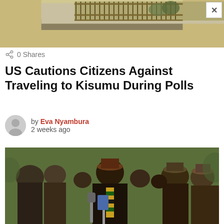[Figure (photo): Top banner image showing a building exterior with fence/railing, partially cut off]
0 Shares
US Cautions Citizens Against Traveling to Kisumu During Polls
by Eva Nyambura
2 weeks ago
[Figure (photo): Group of older African men in suits and hats, one man in center speaking into microphones wearing a striped yellow/green/black tie]